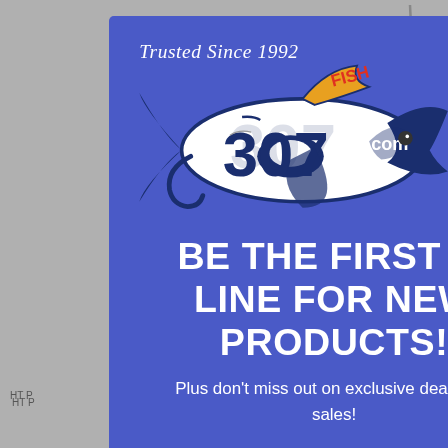[Figure (screenshot): E-commerce website background showing product listings, quick view buttons, and pagination dots, partially obscured by a modal popup overlay.]
[Figure (logo): Fish307.com logo featuring a shark/fish illustration with '307' text and 'Trusted Since 1992' tagline on a blue modal popup background with a close (X) button.]
BE THE FIRST IN LINE FOR NEW PRODUCTS!
Plus don't miss out on exclusive deals and sales!